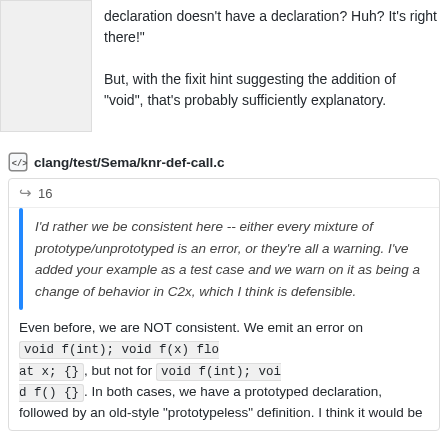declaration doesn’t have a declaration? Huh? It’s right there!"

But, with the fixit hint suggesting the addition of “void”, that’s probably sufficiently explanatory.
clang/test/Sema/knr-def-call.c
16
I’d rather we be consistent here -- either every mixture of prototype/unprototyped is an error, or they’re all a warning. I’ve added your example as a test case and we warn on it as being a change of behavior in C2x, which I think is defensible.
Even before, we are NOT consistent. We emit an error on void f(int); void f(x) float x; {} , but not for void f(int); void f() {} . In both cases, we have a prototyped declaration, followed by an old-style “prototypeless” definition. I think it would be